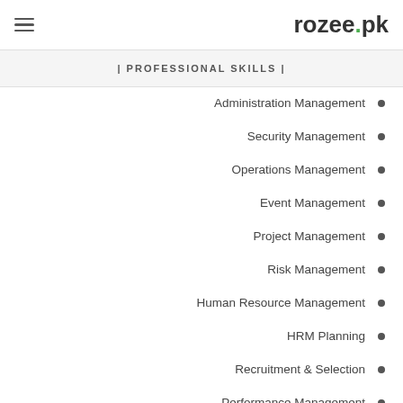rozee.pk
| PROFESSIONAL SKILLS |
Administration Management
Security Management
Operations Management
Event Management
Project Management
Risk Management
Human Resource Management
HRM Planning
Recruitment & Selection
Performance Management